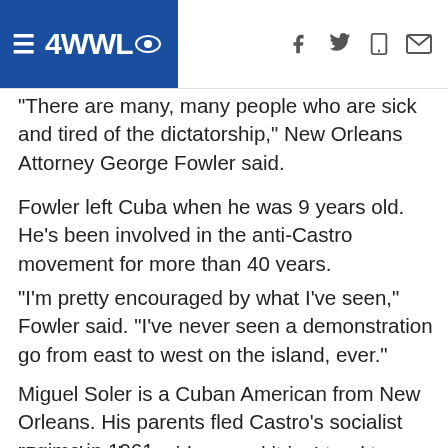4WWL (logo and navigation icons)
“There are many, many people who are sick and tired of the dictatorship,” New Orleans Attorney George Fowler said.
Fowler left Cuba when he was 9 years old. He’s been involved in the anti-Castro movement for more than 40 years.
[Figure (other): Diagonal hatched stripe divider pattern]
“I’m pretty encouraged by what I’ve seen,” Fowler said. “I’ve never seen a demonstration go from east to west on the island, ever.”
Miguel Soler is a Cuban American from New Orleans. His parents fled Castro's socialist regime in 1961.
“Based on how widespread it is, I tend to believe that it’s